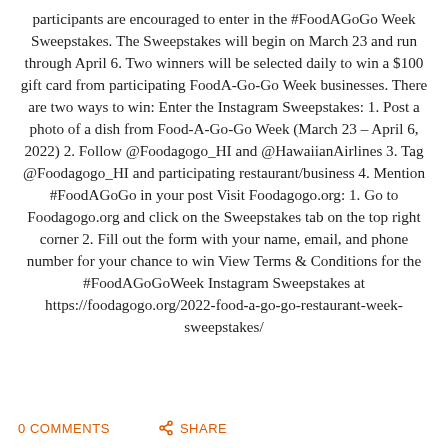participants are encouraged to enter in the #FoodAGoGo Week Sweepstakes. The Sweepstakes will begin on March 23 and run through April 6. Two winners will be selected daily to win a $100 gift card from participating FoodA-Go-Go Week businesses. There are two ways to win: Enter the Instagram Sweepstakes: 1. Post a photo of a dish from Food-A-Go-Go Week (March 23 – April 6, 2022) 2. Follow @Foodagogo_HI and @HawaiianAirlines 3. Tag @Foodagogo_HI and participating restaurant/business 4. Mention #FoodAGoGo in your post Visit Foodagogo.org: 1. Go to Foodagogo.org and click on the Sweepstakes tab on the top right corner 2. Fill out the form with your name, email, and phone number for your chance to win View Terms & Conditions for the #FoodAGoGoWeek Instagram Sweepstakes at https://foodagogo.org/2022-food-a-go-go-restaurant-week-sweepstakes/
0 COMMENTS    SHARE